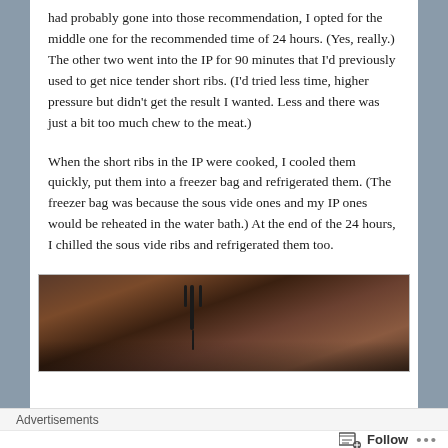had probably gone into those recommendation, I opted for the middle one for the recommended time of 24 hours. (Yes, really.) The other two went into the IP for 90 minutes that I'd previously used to get nice tender short ribs. (I'd tried less time, higher pressure but didn't get the result I wanted. Less and there was just a bit too much chew to the meat.)
When the short ribs in the IP were cooked, I cooled them quickly, put them into a freezer bag and refrigerated them. (The freezer bag was because the sous vide ones and my IP ones would be reheated in the water bath.) At the end of the 24 hours, I chilled the sous vide ribs and refrigerated them too.
[Figure (photo): Close-up photo of cooked short ribs on a plate with a fork visible]
Advertisements
Follow